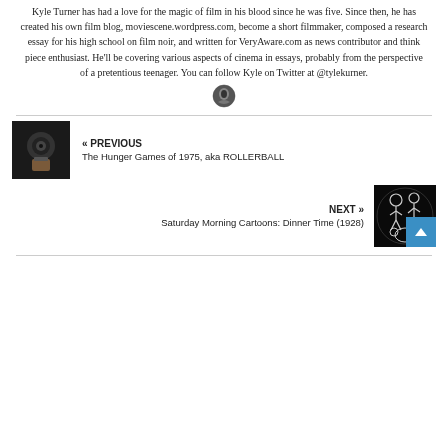Kyle Turner has had a love for the magic of film in his blood since he was five. Since then, he has created his own film blog, moviescene.wordpress.com, become a short filmmaker, composed a research essay for his high school on film noir, and written for VeryAware.com as news contributor and think piece enthusiast. He'll be covering various aspects of cinema in essays, probably from the perspective of a pretentious teenager. You can follow Kyle on Twitter at @tylekurner.
[Figure (logo): Small circular icon/avatar]
[Figure (photo): Thumbnail image for previous post - dark close-up photo]
« PREVIOUS
The Hunger Games of 1975, aka ROLLERBALL
NEXT »
Saturday Morning Cartoons: Dinner Time (1928)
[Figure (illustration): Thumbnail image for next post - black background with cartoon/illustration figures]